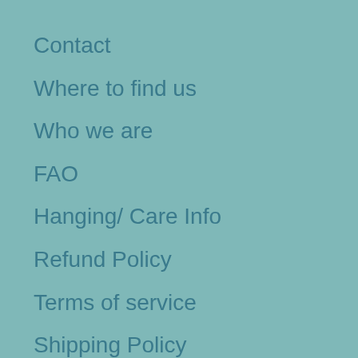Contact
Where to find us
Who we are
FAO
Hanging/ Care Info
Refund Policy
Terms of service
Shipping Policy